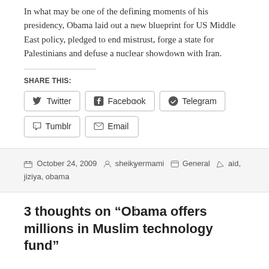In what may be one of the defining moments of his presidency, Obama laid out a new blueprint for US Middle East policy, pledged to end mistrust, forge a state for Palestinians and defuse a nuclear showdown with Iran.
SHARE THIS:
Twitter  Facebook  Telegram  Tumblr  Email
October 24, 2009  sheikyermami  General  aid, jiziya, obama
3 thoughts on “Obama offers millions in Muslim technology fund”